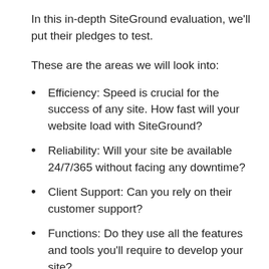In this in-depth SiteGround evaluation, we’ll put their pledges to test.
These are the areas we will look into:
Efficiency: Speed is crucial for the success of any site. How fast will your website load with SiteGround?
Reliability: Will your site be available 24/7/365 without facing any downtime?
Client Support: Can you rely on their customer support?
Functions: Do they use all the features and tools you’ll require to develop your site?
Prices: How much it would cost you? Exist any